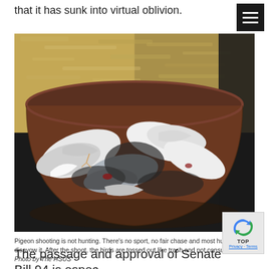that it has sunk into virtual oblivion.
[Figure (photo): Dead pigeons piled in a rusty metal barrel or bucket, viewed from above. The birds appear white and gray, wings spread, lying on top of each other. Background shows plywood/OSB board wall.]
Pigeon shooting is not hunting. There's no sport, no fair chase and most hunters disavow it. After the shoot, the birds are tossed out like trash and not consumed. Photo by The HSUS
The passage and approval of Senate Bill 94 is especially important given Maryland's proximity to Pennsylvania,